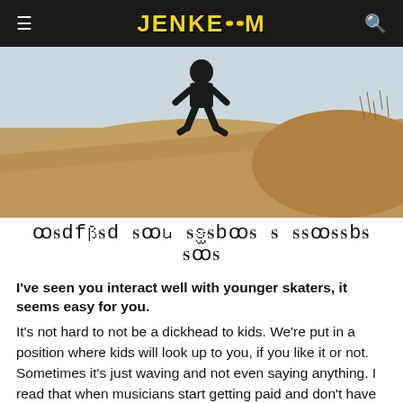JENKEM
[Figure (photo): A person crouching on a sandy/rocky hill or dune outdoors, wearing dark clothing, with sparse dry vegetation in the background.]
ꝏᵴdfꞵ᳕ᵴd ᵴꝏᵴᶍ ᵴᵴ᳕ᵴbᵴᵴᶍ ᵴ ᵴᵴꝏᵴᵴbᵴd ᵴꝏᵴ
I've seen you interact well with younger skaters, it seems easy for you.
It's not hard to not be a dickhead to kids. We're put in a position where kids will look up to you, if you like it or not. Sometimes it's just waving and not even saying anything. I read that when musicians start getting paid and don't have to worry about anything, their mental age stays fairly close to the age they were when they started getting hooked up. So they could be 38 and their mindset is still like a 17 or 14-year-old. There have been pros I know that